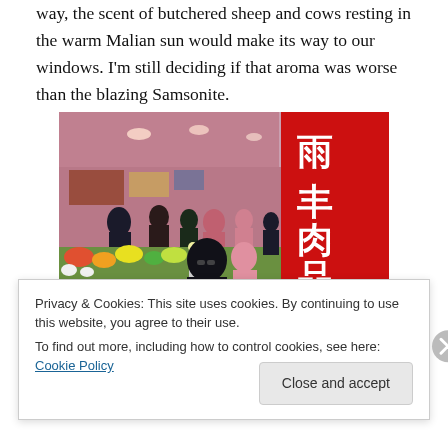way, the scent of butchered sheep and cows resting in the warm Malian sun would make its way to our windows. I'm still deciding if that aroma was worse than the blazing Samsonite.
[Figure (photo): Indoor market scene in China with crowds of people shopping at vegetable and produce stalls. A large red banner with Chinese characters (雨丰肉品专) is visible on the right side.]
Privacy & Cookies: This site uses cookies. By continuing to use this website, you agree to their use.
To find out more, including how to control cookies, see here: Cookie Policy